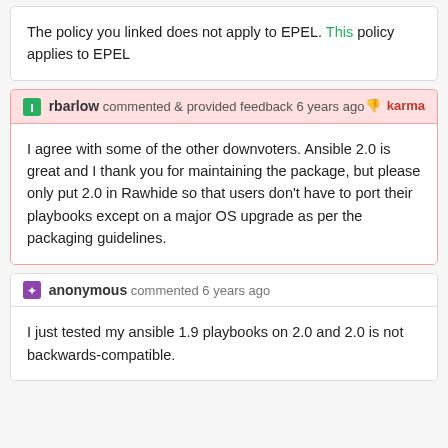The policy you linked does not apply to EPEL. This policy applies to EPEL
rbarlow commented & provided feedback 6 years ago  -1 karma
I agree with some of the other downvoters. Ansible 2.0 is great and I thank you for maintaining the package, but please only put 2.0 in Rawhide so that users don't have to port their playbooks except on a major OS upgrade as per the packaging guidelines.
anonymous commented 6 years ago
I just tested my ansible 1.9 playbooks on 2.0 and 2.0 is not backwards-compatible.